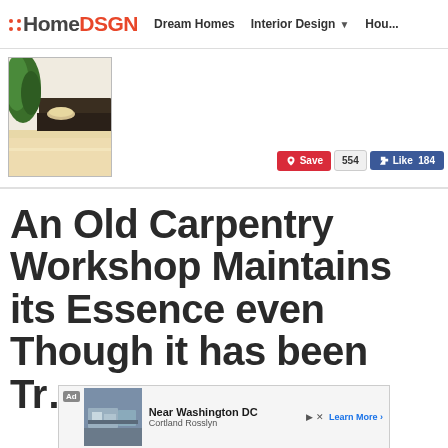HomeDSGN — Dream Homes | Interior Design | Hou...
[Figure (photo): Thumbnail photo of a modern interior with green plants and a wooden bowl on a light wood floor]
Save 554  Like 184
An Old Carpentry Workshop Maintains its Essence even Though it has been Tr...
[Figure (photo): Ad banner: Near Washington DC — Cortland Rosslyn — Learn More]